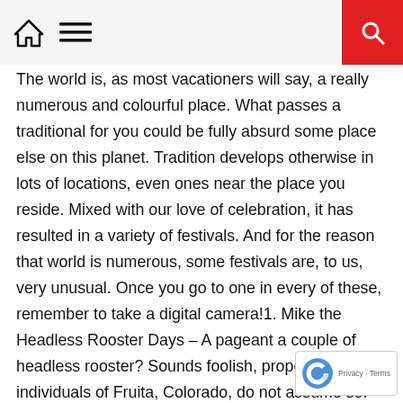🏠 ☰ 🔍
The world is, as most vacationers will say, a really numerous and colourful place. What passes a traditional for you could be fully absurd some place else on this planet. Tradition develops otherwise in lots of locations, even ones near the place you reside. Mixed with our love of celebration, it has resulted in a variety of festivals. And for the reason that world is numerous, some festivals are, to us, very unusual. Once you go to one in every of these, remember to take a digital camera!1. Mike the Headless Rooster Days – A pageant a couple of headless rooster? Sounds foolish, proper? The individuals of Fruita, Colorado, do not assume so. This pageant celebrates Mike, a rooster who had his head chopped off however remained residing since his mind stem was nonetheless. He lived for 18 months and not using a head. The pageant comprises the Rooster Video games, a Rooster Recipe,